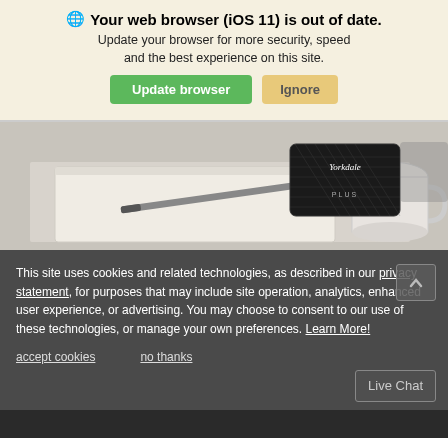🌐 Your web browser (iOS 11) is out of date.
Update your browser for more security, speed and the best experience on this site.
[Figure (screenshot): Two buttons: green 'Update browser' button and tan/gold 'Ignore' button]
[Figure (photo): Photo of a desk with a notebook, pen, and a black Yorkdale Plus loyalty/gift card, with a white mug in the background]
This site uses cookies and related technologies, as described in our privacy statement, for purposes that may include site operation, analytics, enhanced user experience, or advertising. You may choose to consent to our use of these technologies, or manage your own preferences. Learn More!
accept cookies    no thanks